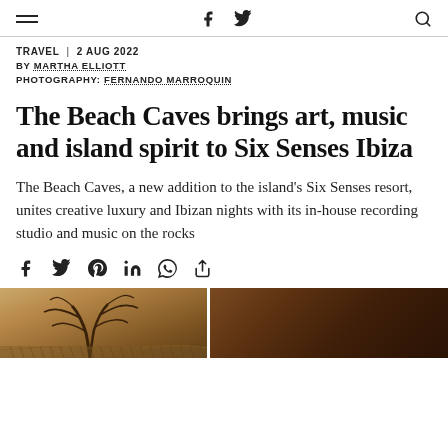Navigation header with hamburger menu, Facebook and Twitter icons, and search icon
TRAVEL | 2 AUG 2022
BY MARTHA ELLIOTT
PHOTOGRAPHY: FERNANDO MARROQUIN
The Beach Caves brings art, music and island spirit to Six Senses Ibiza
The Beach Caves, a new addition to the island's Six Senses resort, unites creative luxury and Ibizan nights with its in-house recording studio and music on the rocks
Share icons: Facebook, Twitter, Pinterest, LinkedIn, WhatsApp, share
[Figure (photo): Two cropped photographs side by side: left shows warm sandy/rocky tones with tree branches visible, right shows a dark warm brown background]